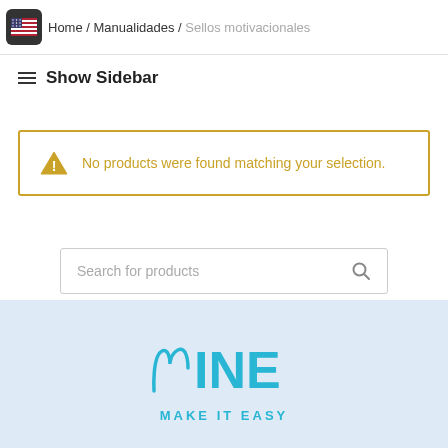Home / Manualidades / Sellos motivacionales
≡ Show Sidebar
⚠ No products were found matching your selection.
Search for products
[Figure (logo): MINE - Make It Easy logo in cyan/teal color on light blue background]